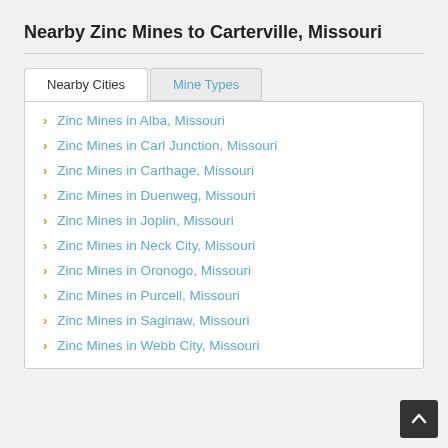Nearby Zinc Mines to Carterville, Missouri
Zinc Mines in Alba, Missouri
Zinc Mines in Carl Junction, Missouri
Zinc Mines in Carthage, Missouri
Zinc Mines in Duenweg, Missouri
Zinc Mines in Joplin, Missouri
Zinc Mines in Neck City, Missouri
Zinc Mines in Oronogo, Missouri
Zinc Mines in Purcell, Missouri
Zinc Mines in Saginaw, Missouri
Zinc Mines in Webb City, Missouri